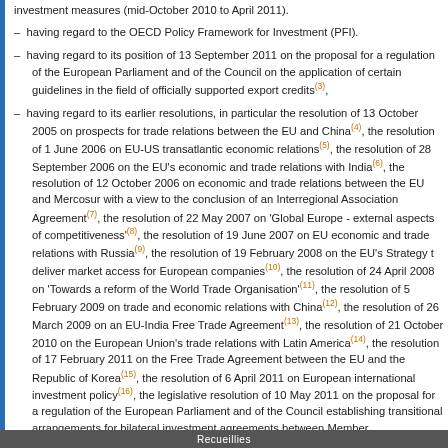– having regard to the OECD Policy Framework for Investment (PFI).
– having regard to its position of 13 September 2011 on the proposal for a regulation of the European Parliament and of the Council on the application of certain guidelines in the field of officially supported export credits(3),
– having regard to its earlier resolutions, in particular the resolution of 13 October 2005 on prospects for trade relations between the EU and China(4), the resolution of 1 June 2006 on EU-US transatlantic economic relations(5), the resolution of 28 September 2006 on the EU's economic and trade relations with India(6), the resolution of 12 October 2006 on economic and trade relations between the EU and Mercosur with a view to the conclusion of an Interregional Association Agreement(7), the resolution of 22 May 2007 on 'Global Europe - external aspects of competitiveness'(8), the resolution of 19 June 2007 on EU economic and trade relations with Russia(9), the resolution of 19 February 2008 on the EU's Strategy to deliver market access for European companies(10), the resolution of 24 April 2008 on 'Towards a reform of the World Trade Organisation'(11), the resolution of 5 February 2009 on trade and economic relations with China(12), the resolution of 26 March 2009 on an EU-India Free Trade Agreement(13), the resolution of 21 October 2010 on the European Union's trade relations with Latin America(14), the resolution of 17 February 2011 on the Free Trade Agreement between the EU and the Republic of Korea(15), the resolution of 6 April 2011 on European international investment policy(16), the legislative resolution of 10 May 2011 on the proposal for a regulation of the European Parliament and of the Council establishing transitional arrangements for bilateral investment agreements between Member States and third countries(17), the resolution of 11 May 2011 on the state of the
Recueillies